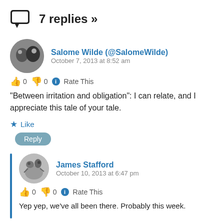7 replies »
Salome Wilde (@SalomeWilde)
October 7, 2013 at 8:52 am
👍 0 👎 0 ℹ Rate This
"Between irritation and obligation": I can relate, and I appreciate this tale of your tale.
★ Like
Reply
James Stafford
October 10, 2013 at 6:47 pm
👍 0 👎 0 ℹ Rate This
Yep yep, we've all been there. Probably this week.